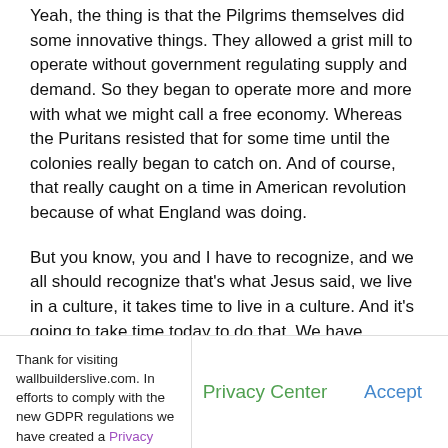Yeah, the thing is that the Pilgrims themselves did some innovative things. They allowed a grist mill to operate without government regulating supply and demand. So they began to operate more and more with what we might call a free economy. Whereas the Puritans resisted that for some time until the colonies really began to catch on. And of course, that really caught on a time in American revolution because of what England was doing.
But you know, you and I have to recognize, and we all should recognize that's what Jesus said, we live in a culture, it takes time to live in a culture. And it's going to take time today to do that. We have hundreds of thousands of people graduating from high schools and colleges with a notion to hate our heritage, the notion to brushstroke it. Of course, there were evil things that happened in events. You always do when you have people. But they never been trained to see the silver lining, never been trained to see the providence of God. And
Thank for visiting wallbuilderslive.com. In efforts to comply with the new GDPR regulations we have created a Privacy Center for your convenience. | Privacy Center | Accept